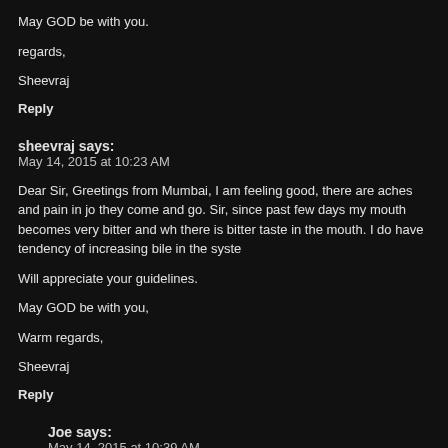May GOD be with you.
regards,
Sheevraj
Reply
sheevraj says:
May 14, 2015 at 10:23 AM
Dear Sir, Greetings from Mumbai, I am feeling good, there are aches and pain in jo they come and go. Sir, since past few days my mouth becomes very bitter and wh there is bitter taste in the mouth. I do have tendency of increasing bile in the syste
Will appreciate your guidelines.
May GOD be with you,
Warm regards,
Sheevraj
Reply
Joe says:
May 14, 2015 at 10:39 AM
Glad to learn that "I am feeling good, there are aches and pain in joints but the and go"